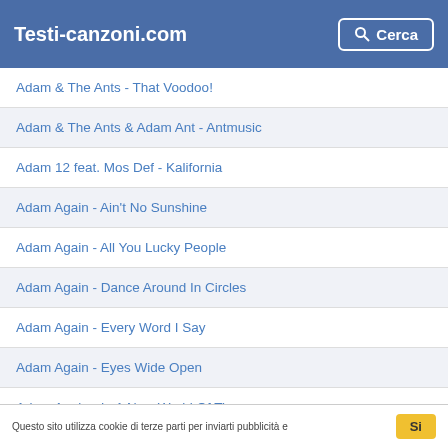Testi-canzoni.com
Adam & The Ants - That Voodoo!
Adam & The Ants & Adam Ant - Antmusic
Adam 12 feat. Mos Def - Kalifornia
Adam Again - Ain't No Sunshine
Adam Again - All You Lucky People
Adam Again - Dance Around In Circles
Adam Again - Every Word I Say
Adam Again - Eyes Wide Open
Adam Again - In A New World Of Time
Adam Again - L C
Questo sito utilizza cookie di terze parti per inviarti pubblicità e